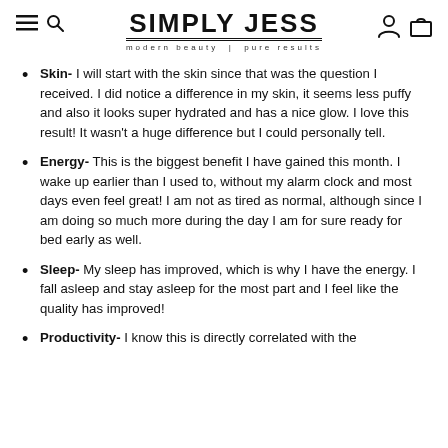[Figure (logo): Simply Jess logo with navigation icons (hamburger menu, search, user, cart). Brand name in bold uppercase letters with tagline 'modern beauty | pure results']
Skin- I will start with the skin since that was the question I received. I did notice a difference in my skin, it seems less puffy and also it looks super hydrated and has a nice glow. I love this result! It wasn't a huge difference but I could personally tell.
Energy- This is the biggest benefit I have gained this month. I wake up earlier than I used to, without my alarm clock and most days even feel great! I am not as tired as normal, although since I am doing so much more during the day I am for sure ready for bed early as well.
Sleep- My sleep has improved, which is why I have the energy. I fall asleep and stay asleep for the most part and I feel like the quality has improved!
Productivity- I know this is directly correlated with the